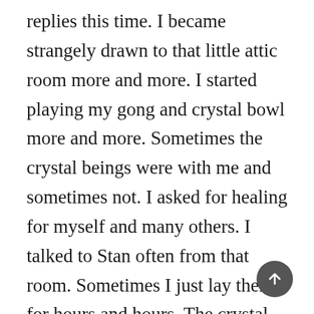replies this time. I became strangely drawn to that little attic room more and more. I started playing my gong and crystal bowl more and more. Sometimes the crystal beings were with me and sometimes not. I asked for healing for myself and many others. I talked to Stan often from that room. Sometimes I just lay there for hours and hours. The crystal energy was so high in here. It was like bathing in a pool of light.